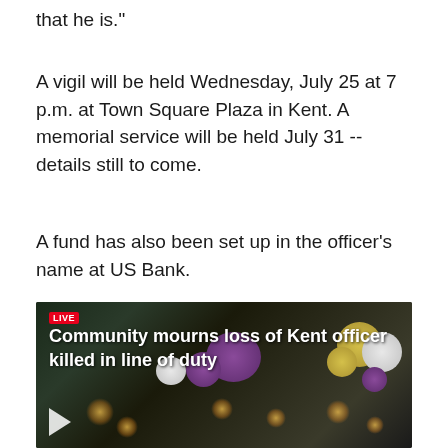that he is."
A vigil will be held Wednesday, July 25 at 7 p.m. at Town Square Plaza in Kent. A memorial service will be held July 31 -- details still to come.
A fund has also been set up in the officer's name at US Bank.
[Figure (photo): A nighttime memorial scene showing candles and flower bouquets on the ground with an overlay reading 'LIVE' and 'Community mourns loss of Kent officer killed in line of duty']